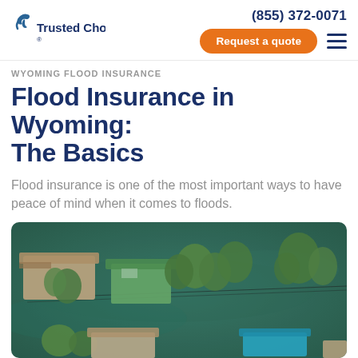Trusted Choice | (855) 372-0071 | Request a quote
WYOMING FLOOD INSURANCE
Flood Insurance in Wyoming: The Basics
Flood insurance is one of the most important ways to have peace of mind when it comes to floods.
[Figure (photo): Aerial view of flooded residential area with houses, trees, and buildings submerged in murky green-brown floodwater.]